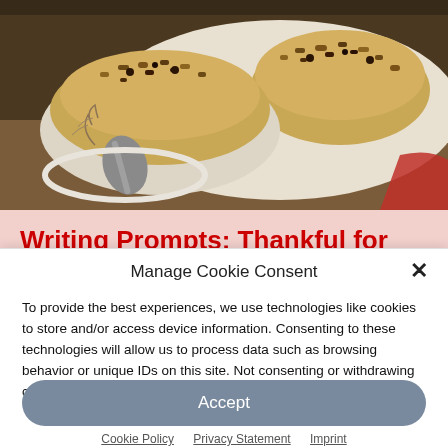[Figure (photo): Food photo showing crumble-topped baked dishes in white bowls on a table with a decorative spoon, taken in warm indoor lighting]
Writing Prompts: Thankful for
Manage Cookie Consent
To provide the best experiences, we use technologies like cookies to store and/or access device information. Consenting to these technologies will allow us to process data such as browsing behavior or unique IDs on this site. Not consenting or withdrawing consent, may adversely affect certain features and functions.
Accept
Cookie Policy  Privacy Statement  Imprint